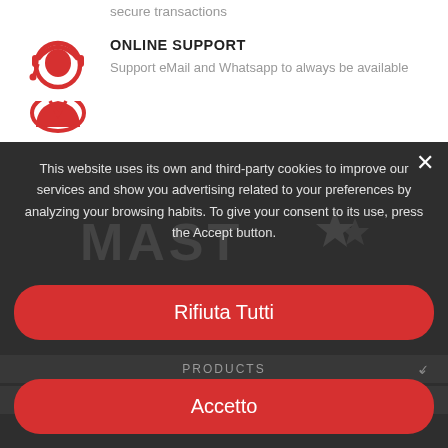secure transactions
[Figure (illustration): Red icon of a person with headset (customer support / online agent)]
ONLINE SUPPORT
Support eMail and Whatsapp to always be available
This website uses its own and third-party cookies to improve our services and show you advertising related to your preferences by analyzing your browsing habits. To give your consent to its use, press the Accept button.
Piú info   Customize cookies
PRODUCTS
MAST GLOVES
Rifiuta Tutti
Accetto